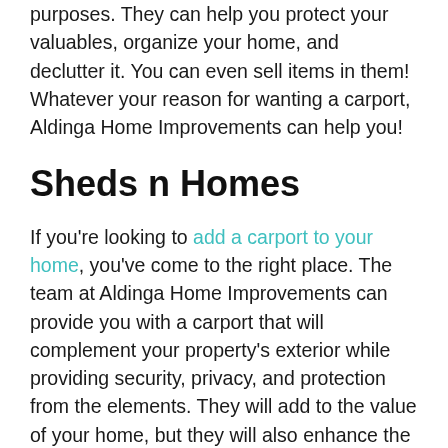purposes. They can help you protect your valuables, organize your home, and declutter it. You can even sell items in them! Whatever your reason for wanting a carport, Aldinga Home Improvements can help you!
Sheds n Homes
If you're looking to add a carport to your home, you've come to the right place. The team at Aldinga Home Improvements can provide you with a carport that will complement your property's exterior while providing security, privacy, and protection from the elements. They will add to the value of your home, but they will also enhance the outdoor space.
With over 25 years of experience, our team at Aldinga Home Improvements is fully capable of meeting your home improvement needs, from custom-made carports to fully-installed roofs and awnings. We offer